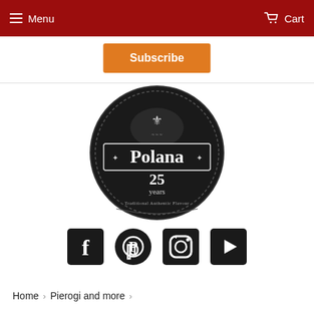Menu   Cart
Subscribe
[Figure (logo): Polana 25 years - Traditional Authentic Flavor circular badge logo in black]
[Figure (infographic): Four social media icons: Facebook, Pinterest, Instagram, YouTube]
Home › Pierogi and more ›